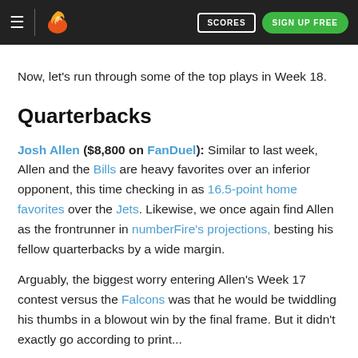numberFire — SCORES | SIGN UP FREE
Now, let's run through some of the top plays in Week 18.
Quarterbacks
Josh Allen ($8,800 on FanDuel): Similar to last week, Allen and the Bills are heavy favorites over an inferior opponent, this time checking in as 16.5-point home favorites over the Jets. Likewise, we once again find Allen as the frontrunner in numberFire's projections, besting his fellow quarterbacks by a wide margin.
Arguably, the biggest worry entering Allen's Week 17 contest versus the Falcons was that he would be twiddling his thumbs in a blowout win by the final frame. But it didn't exactly go according to print...